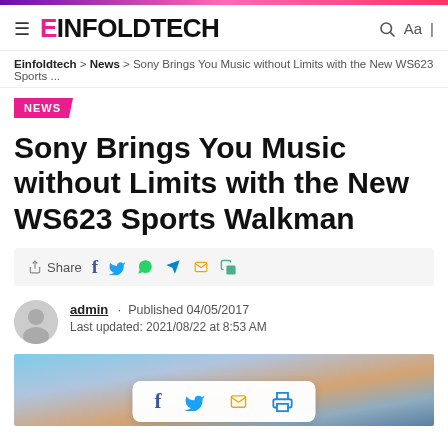EINFOLDTECH
Einfoldtech > News > Sony Brings You Music without Limits with the New WS623 Sports ...
NEWS
Sony Brings You Music without Limits with the New WS623 Sports Walkman
Share (social icons: Facebook, Twitter, WhatsApp, Telegram, Email, Copy)
admin · Published 04/05/2017
Last updated: 2021/08/22 at 8:53 AM
[Figure (photo): Hero image of a person with headphones against a sky background, with a floating share bar showing Facebook, Twitter, Email, and Print icons]